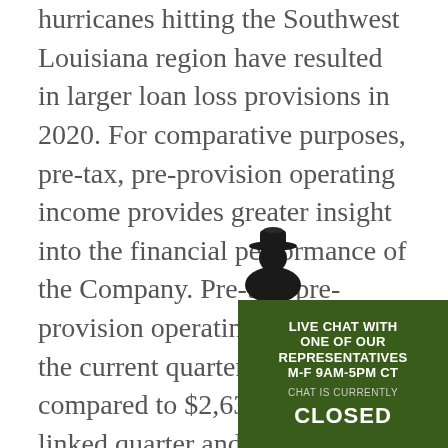hurricanes hitting the Southwest Louisiana region have resulted in larger loan loss provisions in 2020. For comparative purposes, pre-tax, pre-provision operating income provides greater insight into the financial performance of the Company. Pre-tax, pre-provision operating income for the current quarter is $2,508,474 compared to $2,637,056 for the linked quarter and $2,773,357 for the comparative prior year quarter. Pre-tax, pre-provision operating income excludes taxes, provision for loan losses, net losses on the sale of other real estate owned, gains on the sale of investment securities and net gains on the disposal of fixed assets. The current quarter was adversely impacted by an increase in non-interest expenses that were partially offset by an increase in the recognition of Small Bu...
[Figure (other): Live chat widget overlay with green background showing a person in a cowboy hat holding a sign. Text reads: LIVE CHAT WITH ONE OF OUR REPRESENTATIVES M-F 9AM-5PM CT. CHAT IS CURRENTLY CLOSED.]